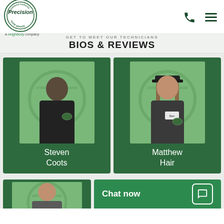[Figure (logo): Precision Door Service - Overhead Garage logo, circular badge with company name]
Precision Door Service header with phone icon and hamburger menu
BIOS & REVIEWS
[Figure (photo): Steven Coots - staff photo showing man in black t-shirt with Precision logo, against green branded background]
Steven
Coots
[Figure (photo): Matthew Hair - staff photo showing man with long hair and cap in dark uniform, against green branded background]
Matthew
Hair
[Figure (photo): Partial staff photo at bottom showing person against green branded background]
Chat now